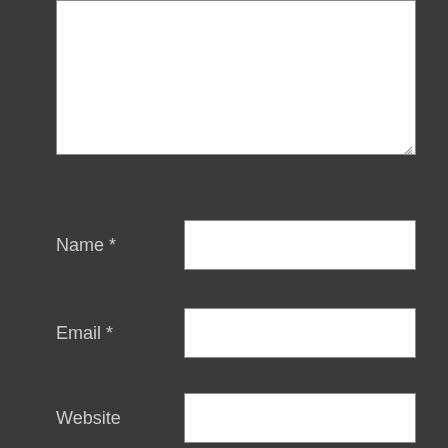[Figure (screenshot): A comment form on a dark background with a textarea at the top (partially visible), followed by Name, Email, and Website text input fields each with a label and asterisk for required fields, a 'Post Comment' button with rounded border, and two checkboxes labeled 'Notify me of new comments via email.' and 'Notify me of new posts via email.']